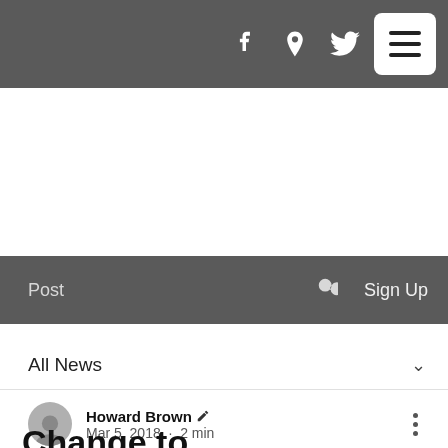Navigation bar with social icons (Facebook, location pin, Twitter) and hamburger menu
Post  🔍  Sign Up
All News
Howard Brown ✏  Mar 5, 2018 · 2 min
Change to